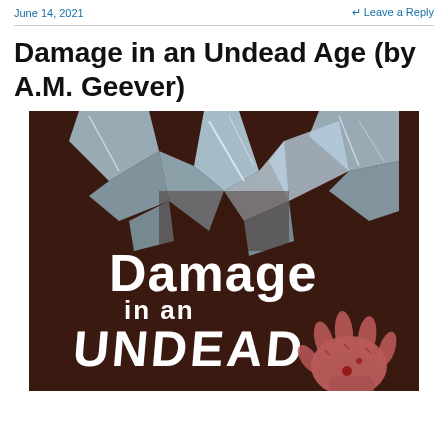June 14, 2021   Leave a Reply
Damage in an Undead Age (by A.M. Geever)
[Figure (illustration): Book cover for 'Damage in an Undead Age' showing shattered glass fragments on a dark brown background with white stylized text reading 'Damage in an Undead Age' and a bloody zombie hand reaching up from the lower right.]